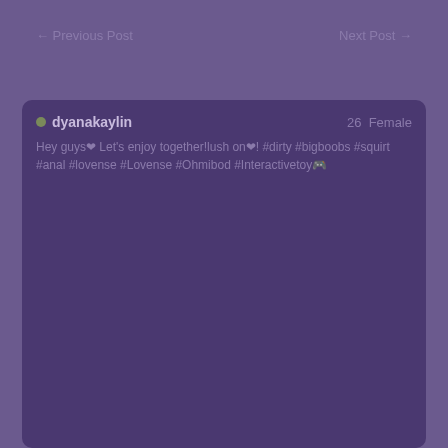← Previous Post    Next Post →
dyanakaylin  26  Female
Hey guys❤ Let's enjoy together!lush on❤! #dirty #bigboobs #squirt #anal #lovense #Lovense #Ohmibod #Interactivetoy🎮